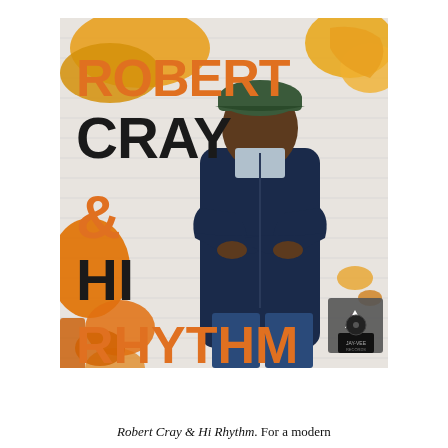[Figure (photo): Album cover for 'Robert Cray & Hi Rhythm'. Shows Robert Cray standing with arms crossed against a white brick wall with yellow and orange paint splatters. He wears a dark navy zip-up jacket, jeans, and a green cap. Large text on the left reads 'ROBERT CRAY' in orange/dark colors, '& HI RHYTHM' in dark and orange. Bottom right has a JAY-VEE Records logo with an upward arrow button.]
Robert Cray & Hi Rhythm. For a modern